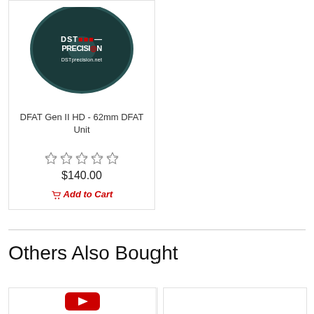[Figure (photo): Dark teal/black circular disc with DST Precision logo and DSTprecision.net text]
DFAT Gen II HD - 62mm DFAT Unit
[Figure (other): Five empty star rating icons]
$140.00
Add to Cart
Others Also Bought
[Figure (screenshot): Product card with YouTube play button icon]
[Figure (photo): Empty product card]